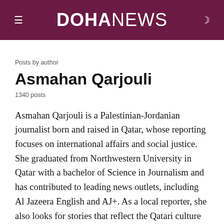DOHA NEWS
Posts by author
Asmahan Qarjouli
1340 posts
Asmahan Qarjouli is a Palestinian-Jordanian journalist born and raised in Qatar, whose reporting focuses on international affairs and social justice. She graduated from Northwestern University in Qatar with a bachelor of Science in Journalism and has contributed to leading news outlets, including Al Jazeera English and AJ+. As a local reporter, she also looks for stories that reflect the Qatari culture from the past and present.